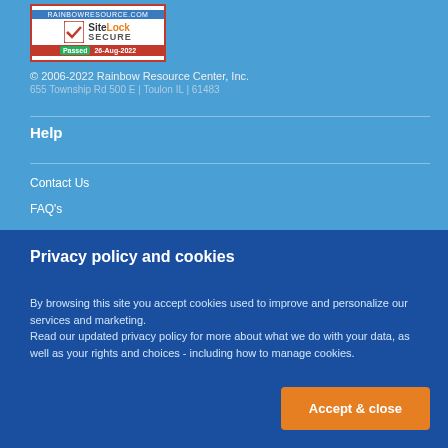[Figure (logo): SiteLock SECURE badge showing 'Passed 26-Aug-2022']
© 2006-2022 Rainbow Resource Center, Inc.
655 Township Rd 500 E | Toulon IL | 61483
Help
Contact Us
FAQ's
Privacy policy and cookies
By browsing this site you accept cookies used to improve and personalize our services and marketing.
Read our updated privacy policy for more about what we do with your data, as well as your rights and choices - including how to manage cookies.
Accept & close